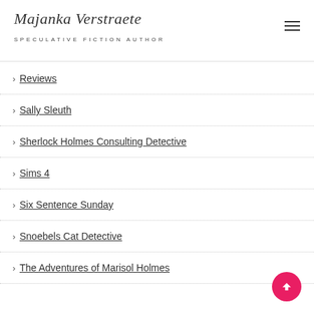Majanka Verstraete
SPECULATIVE FICTION AUTHOR
Reviews
Sally Sleuth
Sherlock Holmes Consulting Detective
Sims 4
Six Sentence Sunday
Snoebels Cat Detective
The Adventures of Marisol Holmes